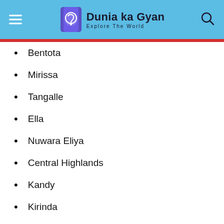Dunia ka Gyan — Explore The World
Bentota
Mirissa
Tangalle
Ella
Nuwara Eliya
Central Highlands
Kandy
Kirinda
Hikkkaduwa
Kadalama